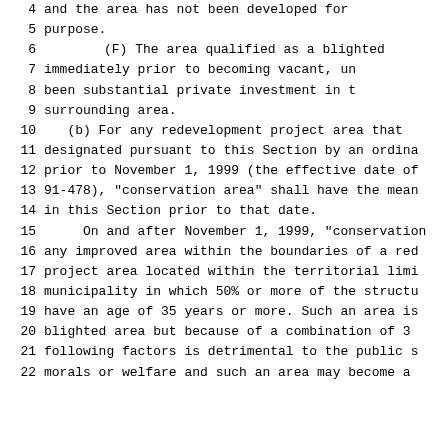4    and the area has not been developed for
5    purpose.
6         (F) The area qualified as a blighted
7         immediately prior to becoming vacant, un
8         been substantial private investment in t
9         surrounding area.
10     (b) For any redevelopment project area that
11     designated pursuant to this Section by an ordina
12     prior to November 1, 1999 (the effective date of
13     91-478), "conservation area" shall have the mean
14     in this Section prior to that date.
15          On and after November 1, 1999, "conservation
16     any improved area within the boundaries of a red
17     project area located within the territorial limi
18     municipality in which 50% or more of the structu
19     have an age of 35 years or more. Such an area is
20     blighted area but because of a combination of 3
21     following factors is detrimental to the public s
22     morals or welfare and such an area may become a
23     ...